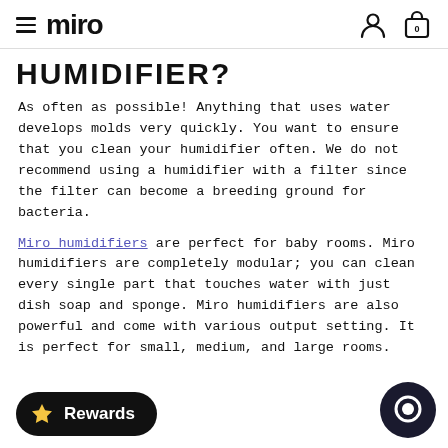miro
HUMIDIFIER?
As often as possible! Anything that uses water develops molds very quickly. You want to ensure that you clean your humidifier often. We do not recommend using a humidifier with a filter since the filter can become a breeding ground for bacteria.
Miro humidifiers are perfect for baby rooms. Miro humidifiers are completely modular; you can clean every single part that touches water with just dish soap and sponge. Miro humidifiers are also powerful and come with various output setting. It is perfect for small, medium, and large rooms.